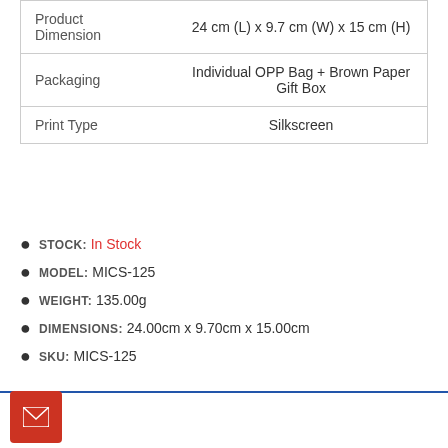|  |  |
| --- | --- |
| Product Dimension | 24 cm (L) x 9.7 cm (W) x 15 cm (H) |
| Packaging | Individual OPP Bag + Brown Paper Gift Box |
| Print Type | Silkscreen |
STOCK: In Stock
MODEL: MICS-125
WEIGHT: 135.00g
DIMENSIONS: 24.00cm x 9.70cm x 15.00cm
SKU: MICS-125